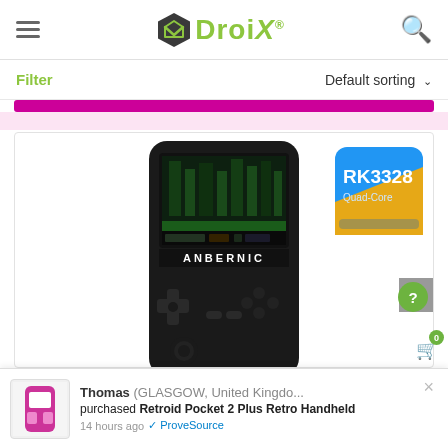DroiX® — hamburger menu and search icon
Filter   Default sorting ˅
[Figure (screenshot): Anbernic handheld retro gaming device (black) with a game running on its screen, plus RK3328 quad-core chip badge in the upper right of the product card]
Thomas (GLASGOW, United Kingdo... purchased Retroid Pocket 2 Plus Retro Handheld 14 hours ago ✔ ProveSource